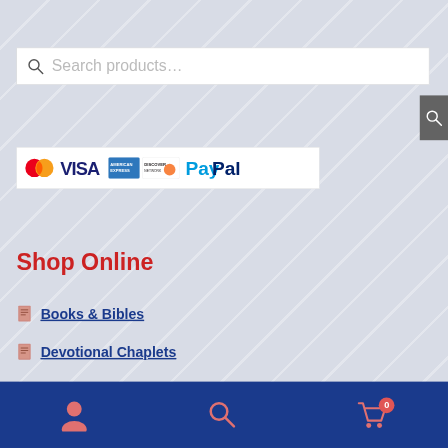[Figure (screenshot): Search bar with magnifying glass icon and placeholder text 'Search products...']
[Figure (logo): Payment method logos: MasterCard, VISA, American Express, Discover, PayPal]
Shop Online
Books & Bibles
Devotional Chaplets
[Figure (screenshot): Bottom navigation bar with user icon, search icon, and cart icon with badge showing 0]